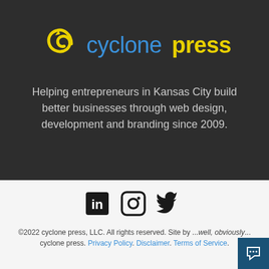[Figure (logo): Cyclone Press logo with yellow cyclone icon and text 'cyclone press' where 'cyclone' is in blue and 'press' is in yellow]
Helping entrepreneurs in Kansas City build better businesses through web design, development and branding since 2009.
[Figure (other): Social media icons: LinkedIn, Instagram, Twitter]
©2022 cyclone press, LLC. All rights reserved. Site by ...well, obviously... cyclone press. Privacy Policy. Disclaimer. Terms of Service.